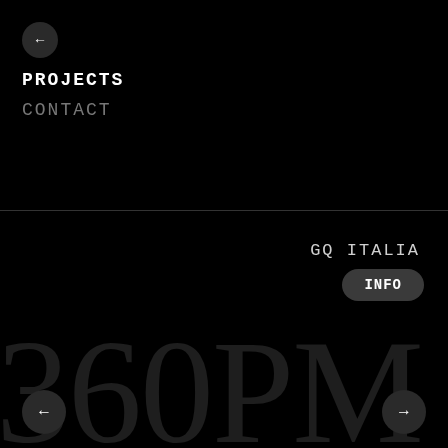[Figure (other): Circular back navigation button with left arrow on black background]
PROJECTS
CONTACT
GQ ITALIA
INFO
360PM
[Figure (other): Left navigation arrow button]
[Figure (other): Right navigation arrow button]